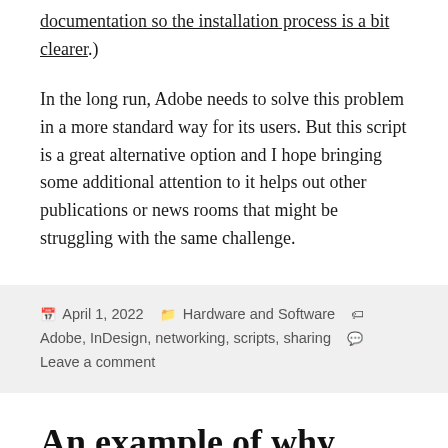documentation so the installation process is a bit clearer.)
In the long run, Adobe needs to solve this problem in a more standard way for its users. But this script is a great alternative option and I hope bringing some additional attention to it helps out other publications or news rooms that might be struggling with the same challenge.
April 1, 2022   Hardware and Software   Adobe, InDesign, networking, scripts, sharing   Leave a comment
An example of why RSS is useful and important